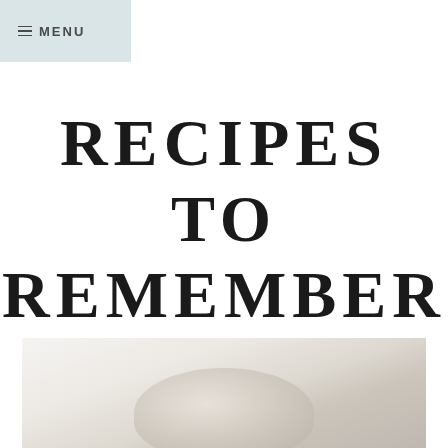≡ MENU
RECIPES TO REMEMBER
[Figure (photo): Food photograph partially visible at bottom of page, light/white tones with soft blurred food subject]